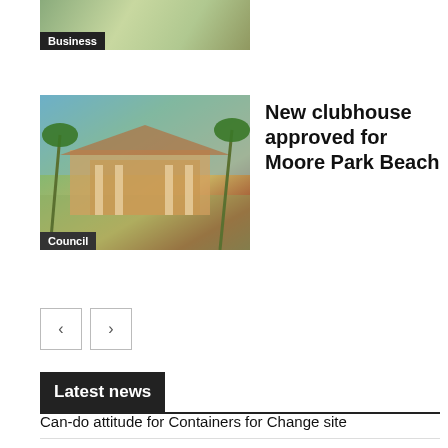[Figure (photo): Aerial or plan view image with Business label overlay]
Business
[Figure (photo): Photo of a building with palm trees - Moore Park Beach clubhouse. Label: Council]
New clubhouse approved for Moore Park Beach
Council
Latest news
Can-do attitude for Containers for Change site
Drive for Life to help students get licence
Nurture on display at Gin Gin Gallery
Romance author to share writing passion